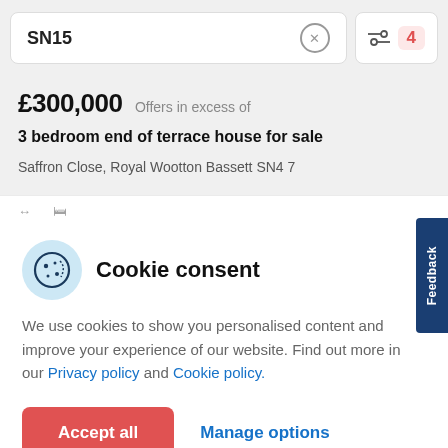SN15
£300,000 Offers in excess of
3 bedroom end of terrace house for sale
Saffron Close, Royal Wootton Bassett SN4 7
Cookie consent
We use cookies to show you personalised content and improve your experience of our website. Find out more in our Privacy policy and Cookie policy.
Accept all
Manage options
Feedback